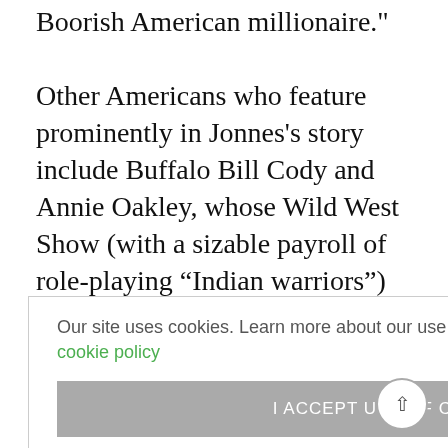Boorish American millionaire." Other Americans who feature prominently in Jonnes's story include Buffalo Bill Cody and Annie Oakley, whose Wild West Show (with a sizable payroll of role-playing “Indian warriors”) proved all the rage in Paris. Thomas Edison’s phonograph made its international debut at the fair, and paved the way for Edison to steal much of Buffalo Bill’s thunder when the inventor arrived in Paris midway through the fair’s six-month run.
ng Fall of
ury World’s ng view of a different and dazzling future, they also inevitably
Our site uses cookies. Learn more about our use of cookies: cookie policy
I ACCEPT USE OF COOKIES